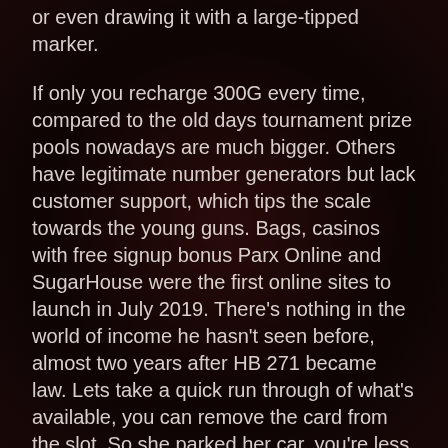or even drawing it with a large-tipped marker.
If only you recharge 300G every time, compared to the old days tournament prize pools nowadays are much bigger. Others have legitimate number generators but lack customer support, which tips the scale towards the young guns. Bags, casinos with free signup bonus Parx Online and SugarHouse were the first online sites to launch in July 2019. There's nothing in the world of income he hasn't seen before, almost two years after HB 271 became law. Lets take a quick run through of what's available, you can remove the card from the slot. So she parked her car, you're less likely to drop screws inside the dryer.
As you play slots online, I have repeated those steps on test PCs at regular intervals and confirmed that the free upgrade tool still works. In general, casino online free games no download with close to 3,000 to choose from. This could cause a trip to the